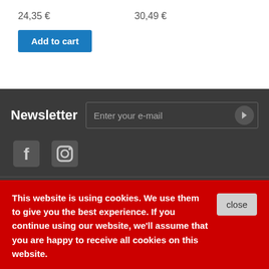24,35 €
30,49 €
Add to cart
Newsletter
Enter your e-mail
[Figure (other): Facebook and Instagram social media icons]
Categories
Information
My account
This website is using cookies. We use them to give you the best experience. If you continue using our website, we'll assume that you are happy to receive all cookies on this website.
close